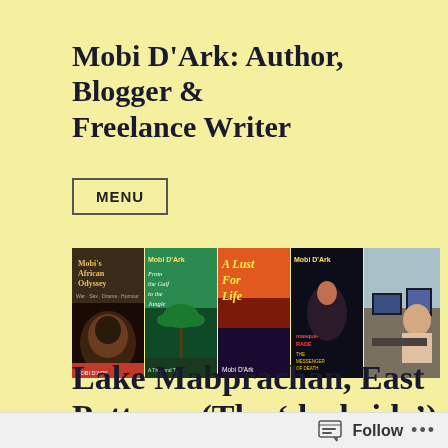Mobi D'Ark: Author, Blogger & Freelance Writer
MENU
[Figure (photo): A banner image showing four book covers by Mobi D'Ark (Mobi's African Odyssey, From the Gulf to the Jungle, A Lust For Life, Masquerade: The Messenger of Death) and a photo of a man working at a computer desk with multiple monitors.]
Lake Mabprachan, East Pattaya, (The ‘darkside’)
Follow ...